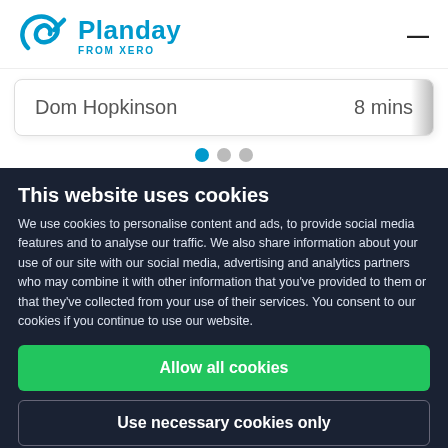[Figure (logo): Planday from Xero logo with blue P icon and wordmark]
Dom Hopkinson   8 mins
[Figure (infographic): Three pagination dots, first one active (blue), two inactive (gray)]
This website uses cookies
We use cookies to personalise content and ads, to provide social media features and to analyse our traffic. We also share information about your use of our site with our social media, advertising and analytics partners who may combine it with other information that you've provided to them or that they've collected from your use of their services. You consent to our cookies if you continue to use our website.
Allow all cookies
Use necessary cookies only
Show details